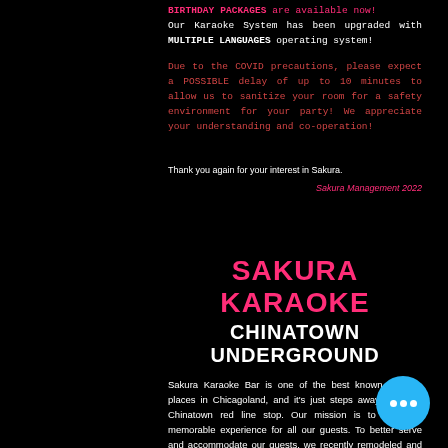BIRTHDAY PACKAGES are available now!
Our Karaoke System has been upgraded with MULTIPLE LANGUAGES operating system!
Due to the COVID precautions, please expect a POSSIBLE delay of up to 10 minutes to allow us to sanitize your room for a safety environment for your party! We appreciate your understanding and co-operation!
Thank you again for your interest in Sakura.
Sakura Management 2022
SAKURA KARAOKE
CHINATOWN UNDERGROUND
Sakura Karaoke Bar is one of the best known karaoke places in Chicagoland, and it's just steps away from the Chinatown red line stop. Our mission is to create a memorable experience for all our guests. To better serve and accommodate our guests, we recently remodeled and expanded our bar, opening our 2021, which